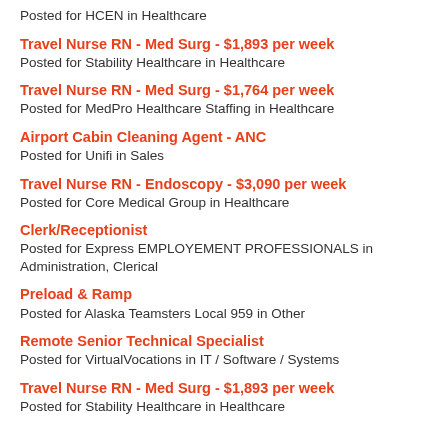Posted for HCEN in Healthcare
Travel Nurse RN - Med Surg - $1,893 per week
Posted for Stability Healthcare in Healthcare
Travel Nurse RN - Med Surg - $1,764 per week
Posted for MedPro Healthcare Staffing in Healthcare
Airport Cabin Cleaning Agent - ANC
Posted for Unifi in Sales
Travel Nurse RN - Endoscopy - $3,090 per week
Posted for Core Medical Group in Healthcare
Clerk/Receptionist
Posted for Express EMPLOYEMENT PROFESSIONALS in Administration, Clerical
Preload & Ramp
Posted for Alaska Teamsters Local 959 in Other
Remote Senior Technical Specialist
Posted for VirtualVocations in IT / Software / Systems
Travel Nurse RN - Med Surg - $1,893 per week
Posted for Stability Healthcare in Healthcare